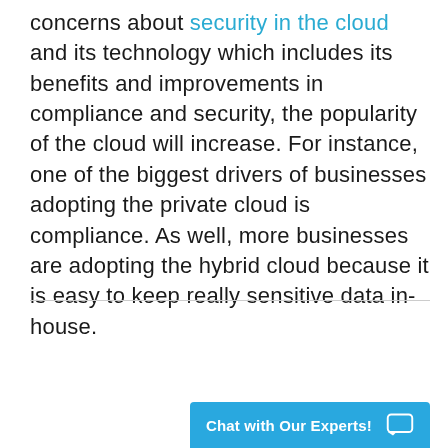concerns about security in the cloud and its technology which includes its benefits and improvements in compliance and security, the popularity of the cloud will increase. For instance, one of the biggest drivers of businesses adopting the private cloud is compliance. As well, more businesses are adopting the hybrid cloud because it is easy to keep really sensitive data in-house.
Chat with Our Experts!